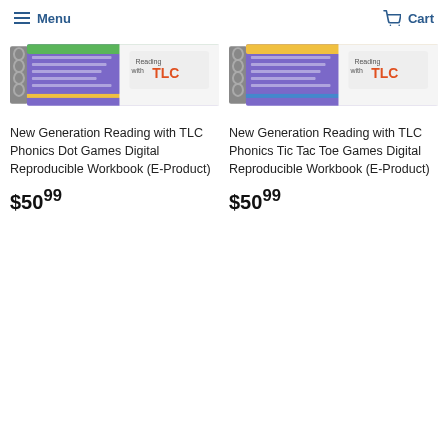Menu  Cart
[Figure (photo): New Generation Reading with TLC phonics workbook - Dot Games edition, spiral bound with purple and green cover]
New Generation Reading with TLC Phonics Dot Games Digital Reproducible Workbook (E-Product)
$50.99
[Figure (photo): New Generation Reading with TLC phonics workbook - Tic Tac Toe Games edition, spiral bound with purple and yellow cover]
New Generation Reading with TLC Phonics Tic Tac Toe Games Digital Reproducible Workbook (E-Product)
$50.99